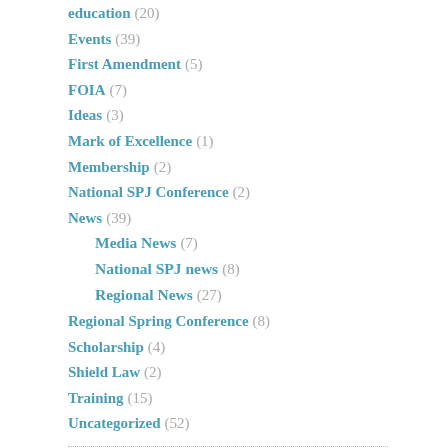education (20)
Events (39)
First Amendment (5)
FOIA (7)
Ideas (3)
Mark of Excellence (1)
Membership (2)
National SPJ Conference (2)
News (39)
Media News (7)
National SPJ news (8)
Regional News (27)
Regional Spring Conference (8)
Scholarship (4)
Shield Law (2)
Training (15)
Uncategorized (52)
META
Log in
Valid XHTML